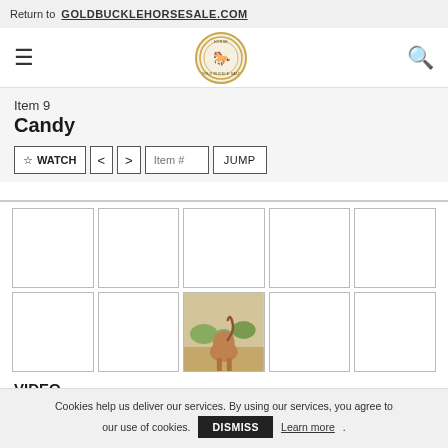Return to GOLDBUCKLEHORSESALE.COM
[Figure (logo): Gold Buckle Horse Sale circular logo with horse and rider silhouette]
Item 9
Candy
☆ WATCH  <  >  Item #  JUMP
[Figure (photo): Grid of 9 photo thumbnails showing horse images; one thumbnail shows a horse from behind in a field]
VIDEO
Cookies help us deliver our services. By using our services, you agree to our use of cookies.  DISMISS  Learn more.